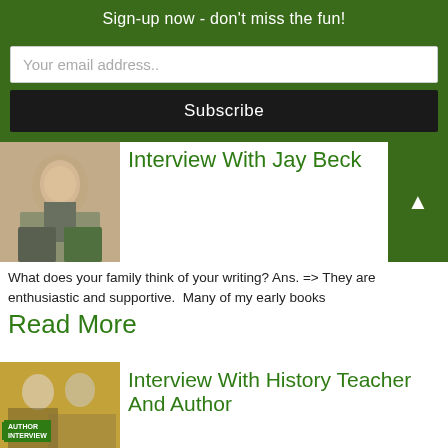Sign-up now - don't miss the fun!
Your email address..
Subscribe
Interview With Jay Beck
What does your family think of your writing? Ans. => They are enthusiastic and supportive.  Many of my early books
Read More
Interview With History Teacher And Author